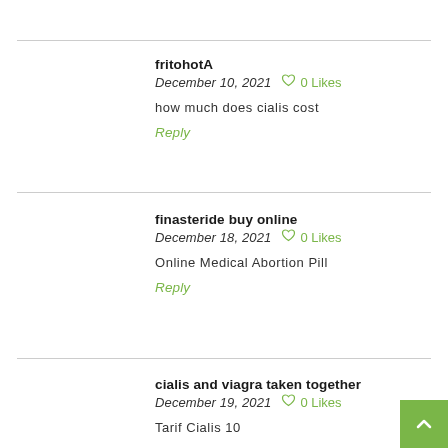fritohotA
December 10, 2021   0 Likes
how much does cialis cost
Reply
finasteride buy online
December 18, 2021   0 Likes
Online Medical Abortion Pill
Reply
cialis and viagra taken together
December 19, 2021   0 Likes
Tarif Cialis 10